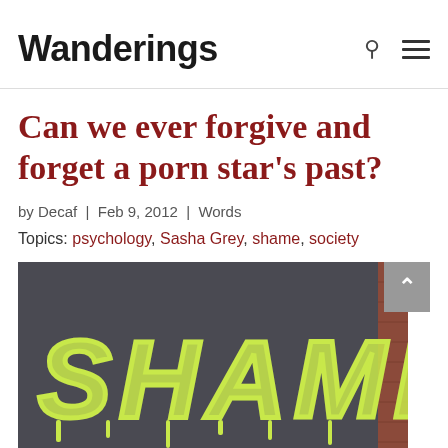Wanderings
Can we ever forgive and forget a porn star’s past?
by Decaf | Feb 9, 2012 | Words
Topics: psychology, Sasha Grey, shame, society
[Figure (photo): Graffiti on a dark wall reading 'SHAME' in dripping yellow-green letters, with brick wall visible on right side]